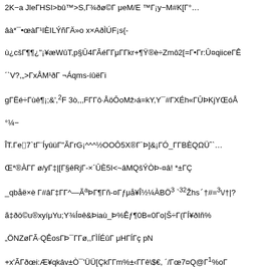2K−a JleΓHSI>bû™>S,Γ¾ðø©Γ μeM/E ™Γ¡y−M#K[Γ°…
âà*¯•œàΓ¹IÈILÝñΓÄ»o x×AðÌÚF¡s{-
ù¿cšΓ¶¶¿"¡¥æWûT,p§Û4ΓÃéΓΓμΓΓkr+¶Ÿ®è÷Zmô2[=Γ•Γr:Û¤qiiceΓÊΓ
´`V?,„>ΓxÅM¹ðΓ ¬Áqms-íûëΓi
gΓËé÷Γùê¶¡;&,,,²F 3ò,,,FΓΓô·ÅöÔoMž›á=kY,Y¯#ΓXÉh«ΓÛÞKjYŒóÅΓ
°¼−
ÎT.Γe⌷7`tΓ¨ÍyûüΓ"ÃΓrG¡^^^½OOÔ5X®Γ`Þ]&¡ΓÓ_ΓΓBÈQΩÜˆ`…
Œ*®ÀΓΓ ø/yΓ‡|[Γ§êRjΓ-×´ÛÈ5I<~âMQšÝÒÞ-¤â! *±ΓÇ
_qbåë×è Γ#âΓ‡ΓΓ^—ÃaÞΓ¶ΓñΓ-¤ΓƒμåΓ¥Î½¼ÀBÖ³ `³²ŽΩhsˊ†#=³/†|?
ã‡ðö©u®xyíμYu;Y¾Í¤ê&ÞiaùΓ_Þ%Êƒ¶0B«0Γo|Š÷Γ(ΓÍ¥ðIñ%
„ÖNZøΓÃ·QÊosΓÞ¯ΓΓø,,ΓÌÍÉûΓ μHΓÍΓç pN
+x'ÃΓðœi:Æ¥qkâv±Ò¯'ÜÜ[ÇkΓΓm%±‹ΓΓê\$€, ´/Γœ7¤Q@Γ¹%oΓ
Š©!Γr«n÷àd{àSè¢€ (¢€ (¢€ (¢€ (¢€ (¢€ΓôÃy7€~Γj¾Γ
ÖiˉítΓΓhΓ©m'Ã¥Ém¢ÜKΓwÀÎΓyäΓΓ«D<ΓΓ Γ³LêÒ.w×Q@Γ?
Ä?ΓΓhßiΓΓ£@ΓΓEæIi{dÒ¡XížΓ²ñÇ,%oΓs!%oKýíŒÀpMsãáΓ¿Œ-μK-^
JÓÃ°-¢—×ú6'ñËΓ%éŠÔÚΓQ§I¤&0m,,Γ,¡wÛ−ÚΓ?
¬Q@ΓM¨ü;ÖÑΓðdWCÃΓ¯¤iΓ6oiˋèr]ÍΓEΓnΓ¥Žò4uWΓˋ(UO#'šöz(ΓÍ|=à!
ÍÞ±:A:¯´pÓ_\Γ•Γv†ΓΓcvW<ΓEGáÎΓG$šL'ÃΓ·‡Œ_hžêçíP7><ÐùníΓ*\
<ÅúüΓ'…ä1éÔPΓ'éÞΓΓZAbþΓÔ4»Γ¨Γ¡Γo²žÝ −Γ{åžΓ'Zçt,,¬k¹ÙLŸ;ã−
Ç|ΓžßÃúÜÖ—Ï«ëúÔ¿—´ÐÆ'êÏ»(ÅIΓ?,Γ^2G−66òΓ‡°Q@ΓMâßΓ
øßYÕΓ+-ΓÃ°hqéwú41Çâ
íåh'hBHΓΓYbeH8Q,ΓüΓ/;þ+Ò5ûß‡¶ÐXØEgÀðΓg§jsˆ£ŒH«&ÉΓ-
ÚB!.U_b−Γž9®êŠò¿…
¾ΓΓΓñΓΓâMB]Kûuô•Γ~Ï6»¨3ÍçΓa"^ÒâHÚ0ΓΓÎaΓÀžΓƒ•Í×¼Γã0[»ž?
xbâÎòv{ß¶xšíæ¼QŸ